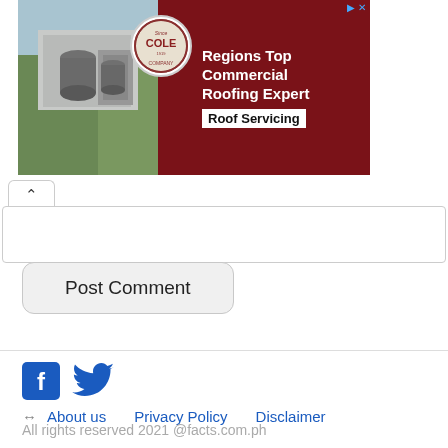[Figure (photo): Advertisement banner for Cole Roofing Company showing aerial photo of commercial building on the left and dark red background with company logo and text on the right reading 'Regions Top Commercial Roofing Expert' and 'Roof Servicing']
Post Comment
[Figure (logo): Facebook and Twitter social media icons in blue]
← About us   Privacy Policy   Disclaimer
All rights reserved 2021 @facts.com.ph